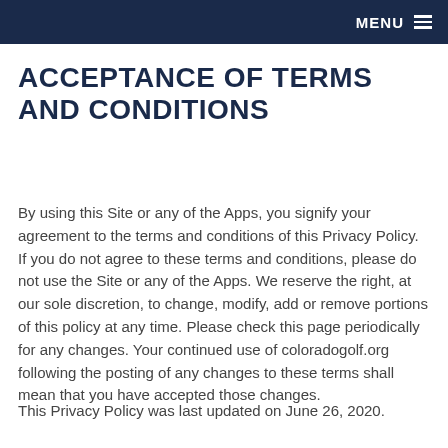MENU
ACCEPTANCE OF TERMS AND CONDITIONS
By using this Site or any of the Apps, you signify your agreement to the terms and conditions of this Privacy Policy. If you do not agree to these terms and conditions, please do not use the Site or any of the Apps. We reserve the right, at our sole discretion, to change, modify, add or remove portions of this policy at any time. Please check this page periodically for any changes. Your continued use of coloradogolf.org following the posting of any changes to these terms shall mean that you have accepted those changes.
This Privacy Policy was last updated on June 26, 2020.